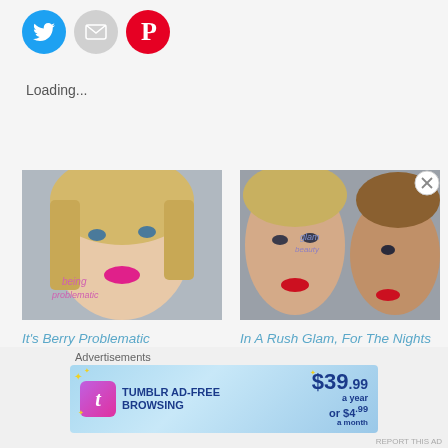[Figure (illustration): Three social sharing icon circles: Twitter (blue bird), Email (grey envelope), Pinterest (red P)]
Loading...
[Figure (photo): Selfie photo of a blonde woman wearing pink lipstick, with text overlay 'being problematic']
It's Berry Problematic
October 28, 2018
In "makeup"
[Figure (photo): Collage of two women with glam makeup, one with red lipstick, overlay text visible]
In A Rush Glam, For The Nights For When You Can't Be Bothered
September 9, 2018
In "makeup"
Advertisements
[Figure (other): Tumblr AD-FREE BROWSING banner ad: $39.99 a year or $4.99 a month]